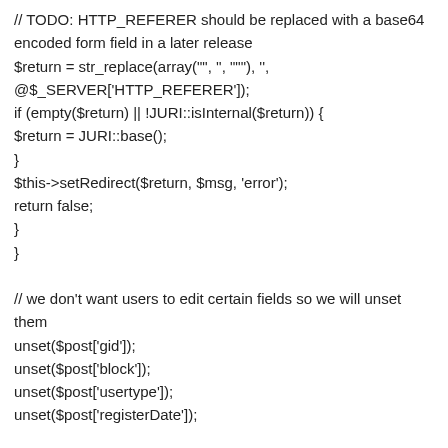// TODO: HTTP_REFERER should be replaced with a base64 encoded form field in a later release
$return = str_replace(array('"', ' ', '""'), '',
@$_SERVER['HTTP_REFERER']);
if (empty($return) || !JURI::isInternal($return)) {
$return = JURI::base();
}
$this->setRedirect($return, $msg, 'error');
return false;
}
}

// we don't want users to edit certain fields so we will unset them
unset($post['gid']);
unset($post['block']);
unset($post['usertype']);
unset($post['registerDate']);